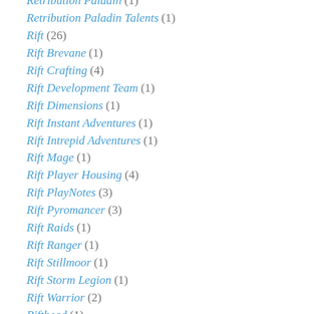Retribution Paladin (1)
Retribution Paladin Talents (1)
Rift (26)
Rift Brevane (1)
Rift Crafting (4)
Rift Development Team (1)
Rift Dimensions (1)
Rift Instant Adventures (1)
Rift Intrepid Adventures (1)
Rift Mage (1)
Rift Player Housing (4)
Rift PlayNotes (3)
Rift Pyromancer (3)
Rift Raids (1)
Rift Ranger (1)
Rift Stillmoor (1)
Rift Storm Legion (1)
Rift Warrior (2)
Rifthead (1)
Ring Of Booty (1)